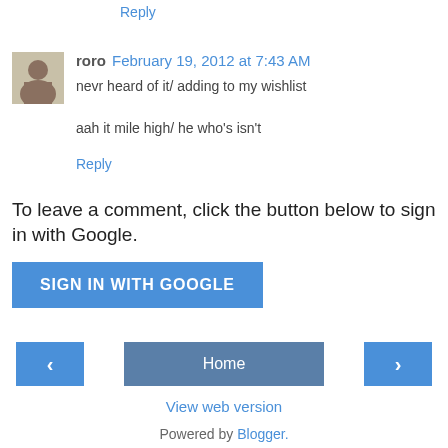Reply
roro  February 19, 2012 at 7:43 AM
nevr heard of it/ adding to my wishlist
aah it mile high/ he who's isn't
Reply
To leave a comment, click the button below to sign in with Google.
SIGN IN WITH GOOGLE
Home
View web version
Powered by Blogger.